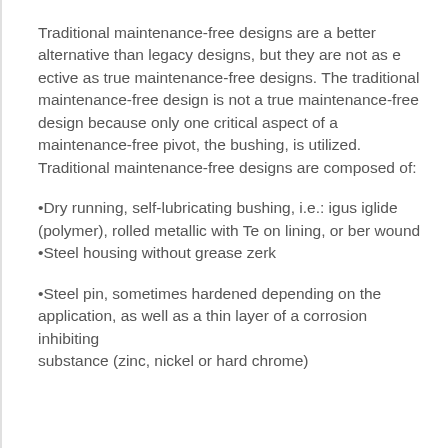Traditional maintenance-free designs are a better alternative than legacy designs, but they are not as e ective as true maintenance-free designs. The traditional maintenance-free design is not a true maintenance-free design because only one critical aspect of a maintenance-free pivot, the bushing, is utilized. Traditional maintenance-free designs are composed of:
•Dry running, self-lubricating bushing, i.e.: igus iglide (polymer), rolled metallic with Te on lining, or ber wound •Steel housing without grease zerk
•Steel pin, sometimes hardened depending on the application, as well as a thin layer of a corrosion inhibiting substance (zinc, nickel or hard chrome)